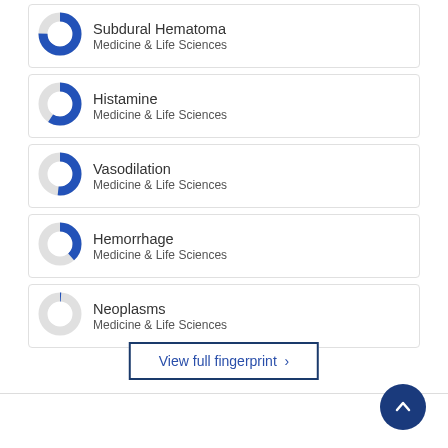Subdural Hematoma — Medicine & Life Sciences
Histamine — Medicine & Life Sciences
Vasodilation — Medicine & Life Sciences
Hemorrhage — Medicine & Life Sciences
Neoplasms — Medicine & Life Sciences
View full fingerprint ›